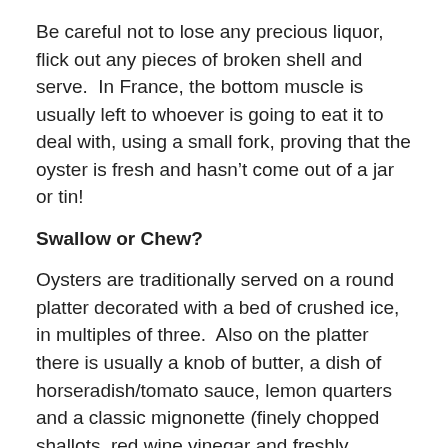Be careful not to lose any precious liquor, flick out any pieces of broken shell and serve.  In France, the bottom muscle is usually left to whoever is going to eat it to deal with, using a small fork, proving that the oyster is fresh and hasn't come out of a jar or tin!
Swallow or Chew?
Oysters are traditionally served on a round platter decorated with a bed of crushed ice, in multiples of three.  Also on the platter there is usually a knob of butter, a dish of horseradish/tomato sauce, lemon quarters and a classic mignonette (finely chopped shallots, red wine vinegar and freshly ground black pepper).  Either eat them au naturel or add a slice of butter, a squeeze of lemon juice or a teaspoon of dressing to the oyster and voila, you are ready to indulge.  Aficionados recommend that you should first sip some of the liquor to prepare your taste buds and then tip the oyster into your mouth.  Swallow or chew is the big question.  That's up to you but, if you are